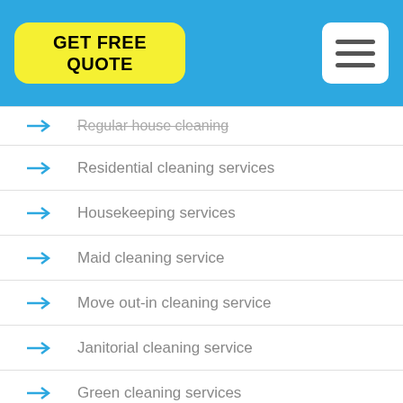[Figure (screenshot): Navigation header bar with yellow 'GET FREE QUOTE' button and hamburger menu icon on blue background]
Regular house cleaning
Residential cleaning services
Housekeeping services
Maid cleaning service
Move out-in cleaning service
Janitorial cleaning service
Green cleaning services
Carpet cleaning service